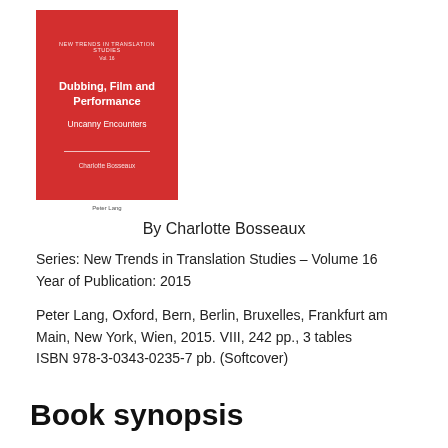[Figure (illustration): Book cover of 'Dubbing, Film and Performance: Uncanny Encounters' by Charlotte Bosseaux, red background with white text, part of New Trends in Translation Studies series, Vol. 16, Peter Lang publisher]
By Charlotte Bosseaux
Series: New Trends in Translation Studies – Volume 16
Year of Publication: 2015
Peter Lang, Oxford, Bern, Berlin, Bruxelles, Frankfurt am Main, New York, Wien, 2015. VIII, 242 pp., 3 tables
ISBN 978-3-0343-0235-7 pb. (Softcover)
Book synopsis